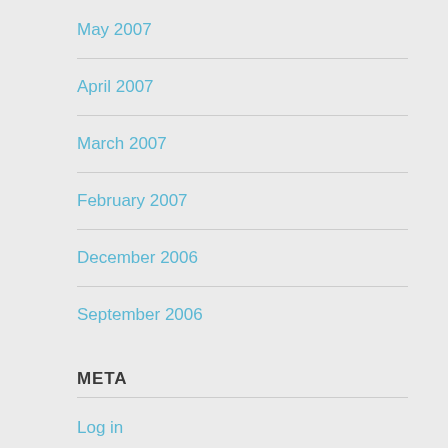May 2007
April 2007
March 2007
February 2007
December 2006
September 2006
META
Log in